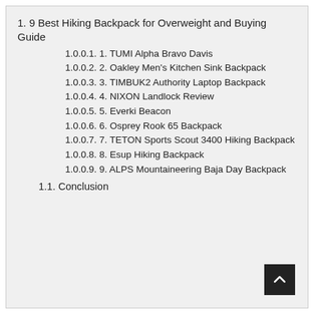1. 9 Best Hiking Backpack for Overweight and Buying Guide
1.0.0.1. 1. TUMI Alpha Bravo Davis
1.0.0.2. 2. Oakley Men's Kitchen Sink Backpack
1.0.0.3. 3. TIMBUK2 Authority Laptop Backpack
1.0.0.4. 4. NIXON Landlock Review
1.0.0.5. 5. Everki Beacon
1.0.0.6. 6. Osprey Rook 65 Backpack
1.0.0.7. 7. TETON Sports Scout 3400 Hiking Backpack
1.0.0.8. 8. Esup Hiking Backpack
1.0.0.9. 9. ALPS Mountaineering Baja Day Backpack
1.1. Conclusion